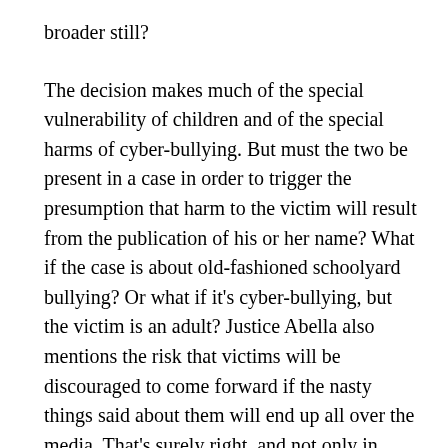broader still?

The decision makes much of the special vulnerability of children and of the special harms of cyber-bullying. But must the two be present in a case in order to trigger the presumption that harm to the victim will result from the publication of his or her name? What if the case is about old-fashioned schoolyard bullying? Or what if it's cyber-bullying, but the victim is an adult? Justice Abella also mentions the risk that victims will be discouraged to come forward if the nasty things said about them will end up all over the media. That's surely right, and not only in cyber-bullying (and sexual assault) cases. It